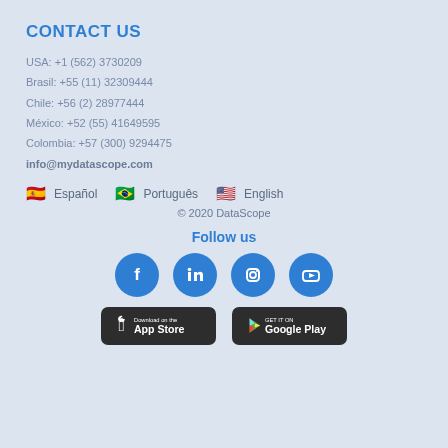CONTACT US
USA: +1 (562) 3730209
Brasil: +55 (11) 32309444
Chile: +56 (2) 28977444
México: +52 (55) 41649595
Colombia: +57 (300) 9294475
info@mydatascope.com
🇪🇸 Español 🇧🇷 Português 🇺🇸 English
© 2020 DataScope
Follow us
[Figure (infographic): Four social media icons: Facebook, LinkedIn, Instagram, YouTube — blue circles with white logos]
[Figure (infographic): App Store download button and Google Play button]